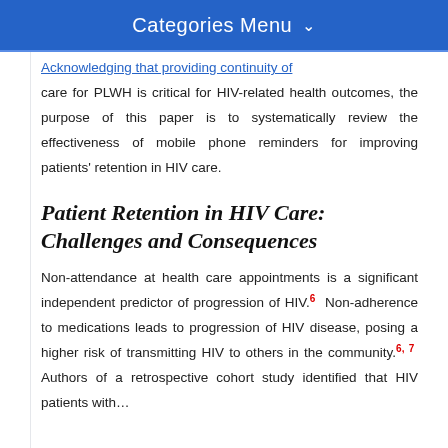Categories Menu
Acknowledging that providing continuity of care for PLWH is critical for HIV-related health outcomes, the purpose of this paper is to systematically review the effectiveness of mobile phone reminders for improving patients' retention in HIV care.
Patient Retention in HIV Care: Challenges and Consequences
Non-attendance at health care appointments is a significant independent predictor of progression of HIV.6  Non-adherence to medications leads to progression of HIV disease, posing a higher risk of transmitting HIV to others in the community.6, 7  Authors of a retrospective cohort study identified that HIV patients with...